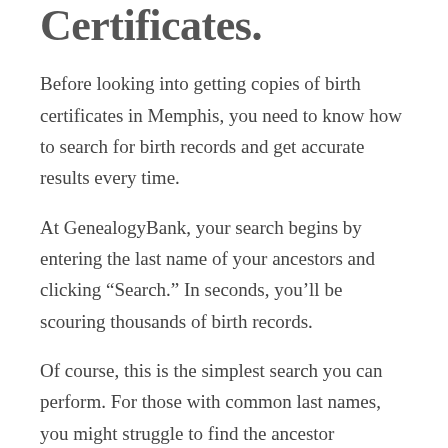Certificates.
Before looking into getting copies of birth certificates in Memphis, you need to know how to search for birth records and get accurate results every time.
At GenealogyBank, your search begins by entering the last name of your ancestors and clicking “Search.” In seconds, you’ll be scouring thousands of birth records.
Of course, this is the simplest search you can perform. For those with common last names, you might struggle to find the ancestor belonging to your family.
You need to use advanced search techniques